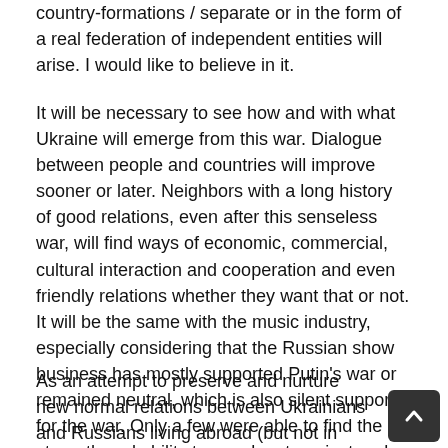country-formations / separate or in the form of a real federation of independent entities will arise. I would like to believe in it.
It will be necessary to see how and with what Ukraine will emerge from this war. Dialogue between people and countries will improve sooner or later. Neighbors with a long history of good relations, even after this senseless war, will find ways of economic, commercial, cultural interaction and cooperation and even friendly relations whether they want that or not. It will be the same with the music industry, especially considering that the Russian show business has mostly supported Putin's war or remained neutral, which is also silent support for the war. Only a few were able to find the strength and ability to speak out against and take the side of the world. As a result, there is a big gap in relations along this line between artists and fans.
As an attempt to preserve and nurture new normal relations between Ukrainians and Russians living abroad (but not in Russia itself), there may be concerts and festivals with the participation of